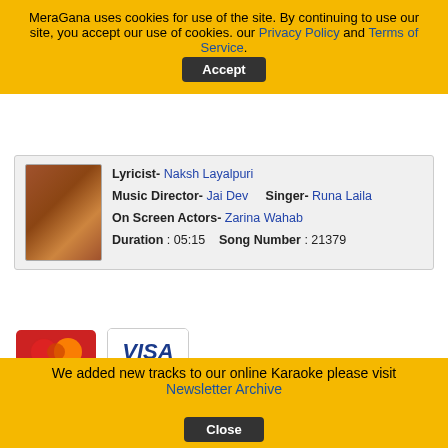MeraGana uses cookies for use of the site. By continuing to use our site, you accept our use of cookies. our Privacy Policy and Terms of Service.
Lyricist- Naksh Layalpuri
Music Director- Jai Dev   Singer- Runa Laila
On Screen Actors- Zarina Wahab
Duration : 05:15   Song Number : 21379
[Figure (logo): MasterCard logo - red circle overlapping orange circle]
[Figure (logo): VISA logo - blue italic text on white background]
[Figure (logo): 2CO logo - white text on dark blue background]
[Figure (logo): PayPal logo - blue text on white/cream background]
Terms of Service | Privacy Policy| Newsletter Archive
If you believe that any material held in by us infringes your copyright please follow the guidance in our Notice and Take Down policy.
We added new tracks to our online Karaoke please visit Newsletter Archive